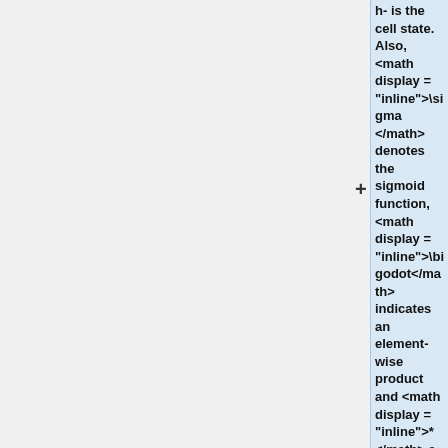h- is the cell state. Also, <math display = "inline">\sigma</math> denotes the sigmoid function, <math display = "inline">\bigodot</math> indicates an element-wise product and <math display = "inline">*</math> a convolution. <math display = "inline">W_h</math> denotes the hidden-to-state